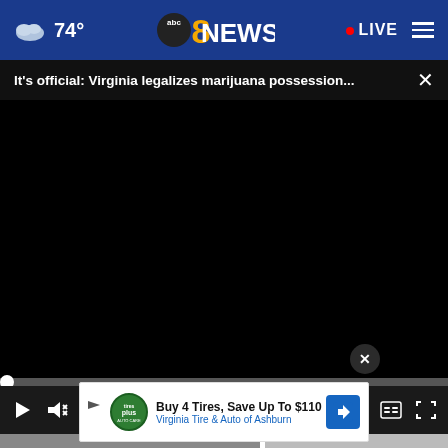[Figure (screenshot): ABC 8 News navigation bar with weather icon showing 74°, ABC8NEWS logo in center, red dot LIVE indicator and hamburger menu on right, on dark blue background]
It's official: Virginia legalizes marijuana possession... ×
[Figure (screenshot): Black video player area with scrubber bar and video controls showing play button, mute button, 00:00 timestamp, captions and fullscreen icons]
[Figure (screenshot): Advertisement banner: Buy 4 Tires, Save Up To $110 Virginia Tire & Auto of Ashburn, with Tires Plus logo and navigation arrow icon]